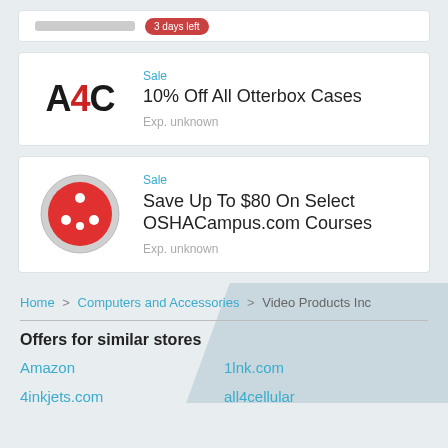3 days left
[Figure (logo): A4C logo in bold text with red plus sign]
Sale
10% Off All Otterbox Cases
Exp. unknown
[Figure (logo): OSHA Campus logo: red circle with white dots on grey ring]
Sale
Save Up To $80 On Select OSHACampus.com Courses
Exp. unknown
Home > Computers and Accessories > Video Products Inc
Offers for similar stores
Amazon
1lnk.com
4inkjets.com
all4cellular